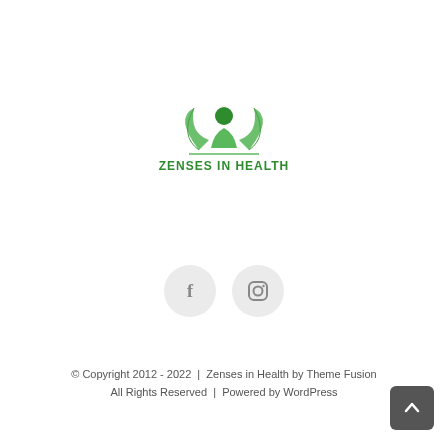[Figure (logo): Zenses In Health logo — green figure with raised arms surrounded by green leaves, text 'ZENSES IN HEALTH' in green below]
[Figure (illustration): Two circular social media icon buttons: Facebook (f) and Instagram (camera) on light gray circle backgrounds]
© Copyright 2012 - 2022   |   Zenses in Health by Theme Fusion
All Rights Reserved  |  Powered by WordPress